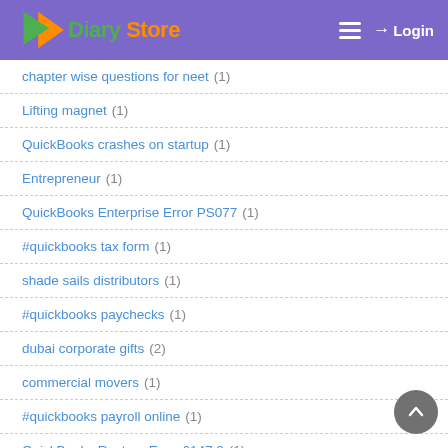Diary Store — Login
chapter wise questions for neet (1)
Lifting magnet (1)
QuickBooks crashes on startup (1)
Entrepreneur (1)
QuickBooks Enterprise Error PS077 (1)
#quickbooks tax form (1)
shade sails distributors (1)
#quickbooks paychecks (1)
dubai corporate gifts (2)
commercial movers (1)
#quickbooks payroll online (1)
QuickBooks Restore Error 6147 0 (1)